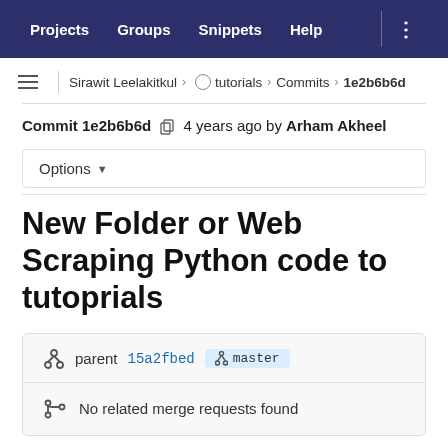Projects  Groups  Snippets  Help
Sirawit Leelakitkul > tutorials > Commits > 1e2b6b6d
Commit 1e2b6b6d  4 years ago by Arham Akheel
Options
New Folder or Web Scraping Python code to tutoprials
parent 15a2fbed  master
No related merge requests found